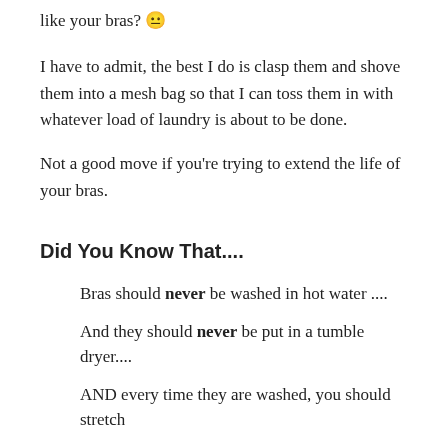like your bras? 😐
I have to admit, the best I do is clasp them and shove them into a mesh bag so that I can toss them in with whatever load of laundry is about to be done.
Not a good move if you're trying to extend the life of your bras.
Did You Know That....
Bras should never be washed in hot water ....
And they should never be put in a tumble dryer....
AND every time they are washed, you should stretch